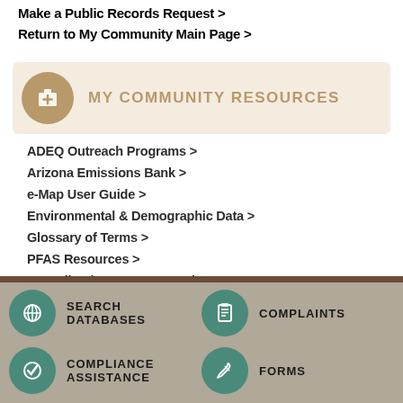Make a Public Records Request >
Return to My Community Main Page >
MY COMMUNITY RESOURCES
ADEQ Outreach Programs >
Arizona Emissions Bank >
e-Map User Guide >
Environmental & Demographic Data >
Glossary of Terms >
PFAS Resources >
Recycling in your Community >
Surface Water Quality Remediation Sites >
SEARCH DATABASES | COMPLAINTS | COMPLIANCE ASSISTANCE | FORMS